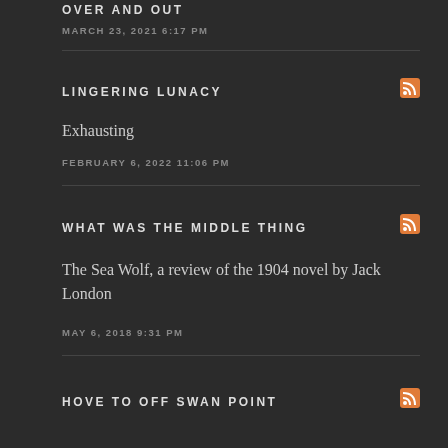Over and Out
MARCH 23, 2021 6:17 PM
LINGERING LUNACY
Exhausting
FEBRUARY 6, 2022 11:06 PM
WHAT WAS THE MIDDLE THING
The Sea Wolf, a review of the 1904 novel by Jack London
MAY 6, 2018 9:31 PM
HOVE TO OFF SWAN POINT